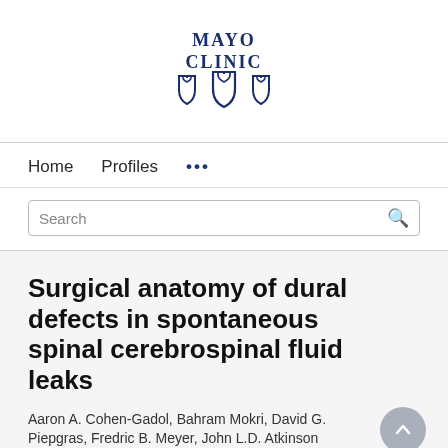[Figure (logo): Mayo Clinic logo with text 'MAYO CLINIC' and shield emblem in dark blue]
Home   Profiles   ...
Search
Surgical anatomy of dural defects in spontaneous spinal cerebrospinal fluid leaks
Aaron A. Cohen-Gadol, Bahram Mokri, David G. Piepgras, Fredric B. Meyer, John L.D. Atkinson